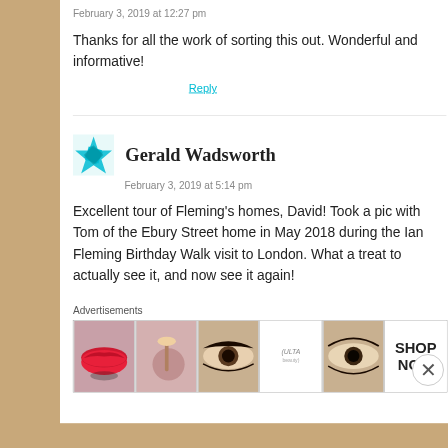February 3, 2019 at 12:27 pm
Thanks for all the work of sorting this out. Wonderful and informative!
Reply
Gerald Wadsworth
February 3, 2019 at 5:14 pm
Excellent tour of Fleming's homes, David! Took a pic with Tom of the Ebury Street home in May 2018 during the Ian Fleming Birthday Walk visit to London. What a treat to actually see it, and now see it again!
Advertisements
[Figure (photo): Ulta beauty advertisement banner with makeup imagery and SHOP NOW text]